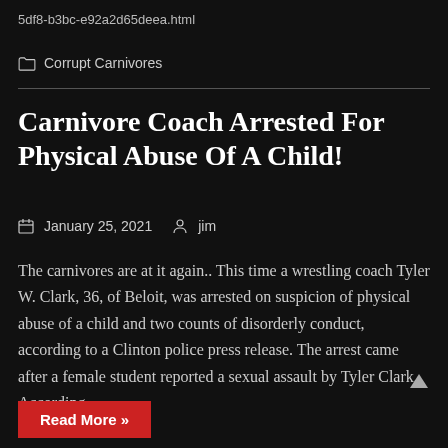5df8-b3bc-e92a2d65deea.html
Corrupt Carnivores
Carnivore Coach Arrested For Physical Abuse Of A Child!
January 25, 2021   jim
The carnivores are at it again.. This time a wrestling coach Tyler W. Clark, 36, of Beloit, was arrested on suspicion of physical abuse of a child and two counts of disorderly conduct, according to a Clinton police press release. The arrest came after a female student reported a sexual assault by Tyler Clark. According...
Read More »